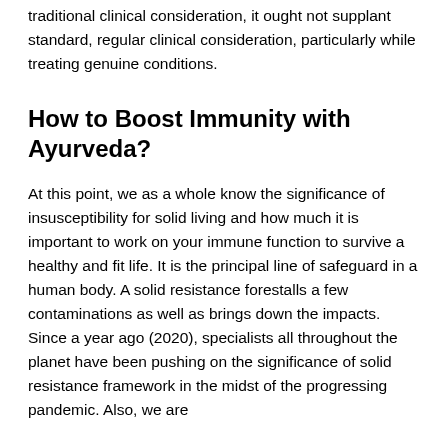traditional clinical consideration, it ought not supplant standard, regular clinical consideration, particularly while treating genuine conditions.
How to Boost Immunity with Ayurveda?
At this point, we as a whole know the significance of insusceptibility for solid living and how much it is important to work on your immune function to survive a healthy and fit life. It is the principal line of safeguard in a human body. A solid resistance forestalls a few contaminations as well as brings down the impacts. Since a year ago (2020), specialists all throughout the planet have been pushing on the significance of solid resistance framework in the midst of the progressing pandemic. Also, we are